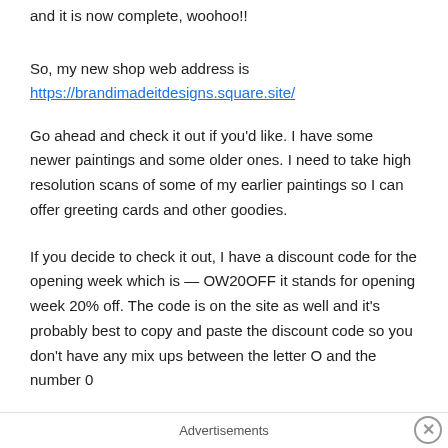and it is now complete, woohoo!!
So, my new shop web address is
https://brandimadeitdesigns.square.site/
Go ahead and check it out if you'd like. I have some newer paintings and some older ones. I need to take high resolution scans of some of my earlier paintings so I can offer greeting cards and other goodies.
If you decide to check it out, I have a discount code for the opening week which is — OW20OFF it stands for opening week 20% off. The code is on the site as well and it's probably best to copy and paste the discount code so you don't have any mix ups between the letter O and the number 0
Advertisements